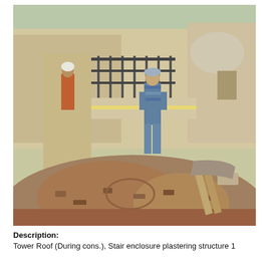[Figure (photo): Construction site photo showing a worker standing near a railing on a rooftop with plastered walls and a large mound of dirt/rubble in the foreground. Tower Roof during construction, stair enclosure plastering structure.]
Description: Tower Roof (During cons.), Stair enclosure plastering structure 1